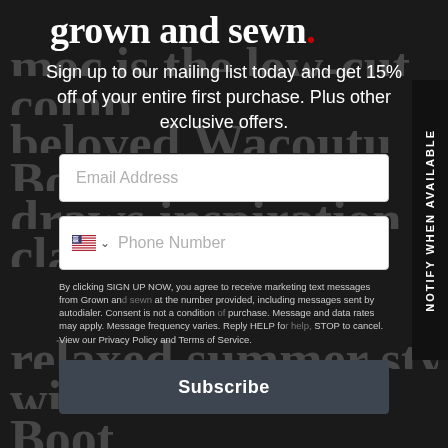grown and sewn.
Sign up to our mailing list today and get 15% off of your entire first purchase. Plus other exclusive offers.
Email Address
Phone Number
By clicking SIGN UP NOW, you agree to receive marketing text messages from Grown and sewn at the number provided, including messages sent by autodialer. Consent is not a condition of purchase. Message and data rates may apply. Message frequency varies. Reply HELP for help, STOP to cancel. View our Privacy Policy and Terms of Service.
Subscribe
NOTIFY WHEN AVAILABLE